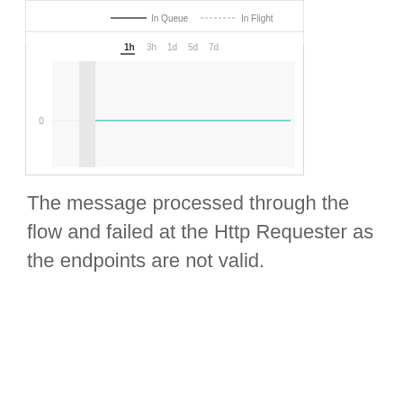[Figure (continuous-plot): A line chart showing 'In Queue' and 'In Flight' metrics over time, with time range selectors (1h, 3h, 1d, 5d, 7d). The '1h' range is selected. The chart shows a flat line at 0 for both metrics, with a slight vertical bar visible at the left side of the chart area.]
The message processed through the flow and failed at the Http Requester as the endpoints are not valid.